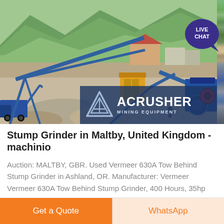[Figure (photo): Aerial view of a mining/crushing plant facility with conveyor belts, stone piles, machinery, and mountains in the background. ACRUSHER MINING EQUIPMENT logo overlaid at bottom right of image.]
Stump Grinder in Maltby, United Kingdom - machinio
Auction: MALTBY, GBR. Used Vermeer 630A Tow Behind Stump Grinder in Ashland, OR. Manufacturer: Vermeer Vermeer 630A Tow Behind Stump Grinder, 400 Hours, 35hp